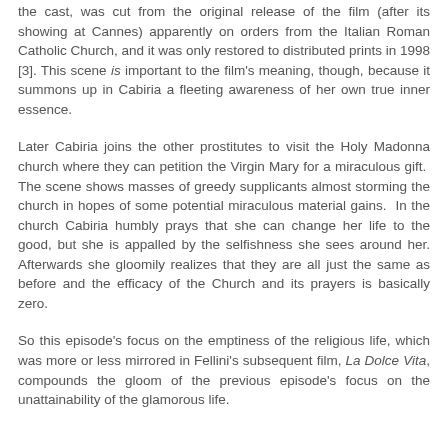the cast, was cut from the original release of the film (after its showing at Cannes) apparently on orders from the Italian Roman Catholic Church, and it was only restored to distributed prints in 1998 [3]. This scene is important to the film's meaning, though, because it summons up in Cabiria a fleeting awareness of her own true inner essence.
Later Cabiria joins the other prostitutes to visit the Holy Madonna church where they can petition the Virgin Mary for a miraculous gift. The scene shows masses of greedy supplicants almost storming the church in hopes of some potential miraculous material gains. In the church Cabiria humbly prays that she can change her life to the good, but she is appalled by the selfishness she sees around her. Afterwards she gloomily realizes that they are all just the same as before and the efficacy of the Church and its prayers is basically zero.
So this episode's focus on the emptiness of the religious life, which was more or less mirrored in Fellini's subsequent film, La Dolce Vita, compounds the gloom of the previous episode's focus on the unattainability of the glamorous life.